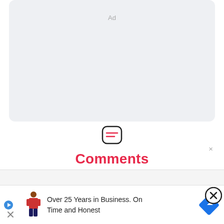[Figure (other): Light gray advertisement placeholder box with 'Ad' label centered near top]
[Figure (other): Comment icon — rounded square with two horizontal lines inside, outlined in black]
Comments
[Figure (other): Dark circular share/redo button icon in black circle]
Earn
Badg
[Figure (other): Advertisement banner: play icon, pixel-art figure illustration, text 'Over 25 Years in Business. On Time and Honest', blue diamond navigation arrow]
[Figure (other): Close (X) button circle at bottom right]